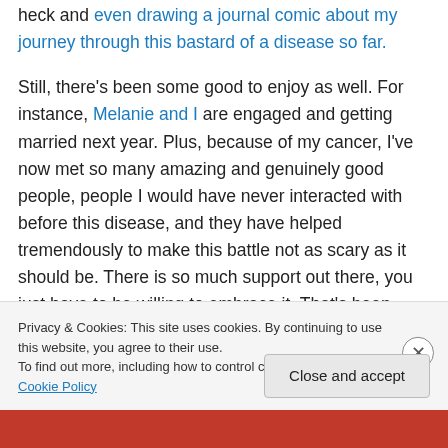heck and even drawing a journal comic about my journey through this bastard of a disease so far.

Still, there's been some good to enjoy as well. For instance, Melanie and I are engaged and getting married next year. Plus, because of my cancer, I've now met so many amazing and genuinely good people, people I would have never interacted with before this disease, and they have helped tremendously to make this battle not as scary as it should be. There is so much support out there, you just have to be willing to embrace it. That's been hard for
Privacy & Cookies: This site uses cookies. By continuing to use this website, you agree to their use.
To find out more, including how to control cookies, see here: Cookie Policy